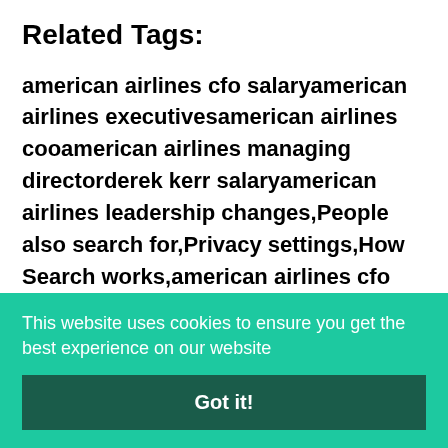Related Tags:
american airlines cfo salaryamerican airlines executivesamerican airlines cooamerican airlines managing directorderek kerr salaryamerican airlines leadership changes,People also search for,Privacy settings,How Search works,american airlines cfo salary,american airlines executives,american airlines coo,american
This website uses cookies to ensure you get the best experience on our website
Got it!